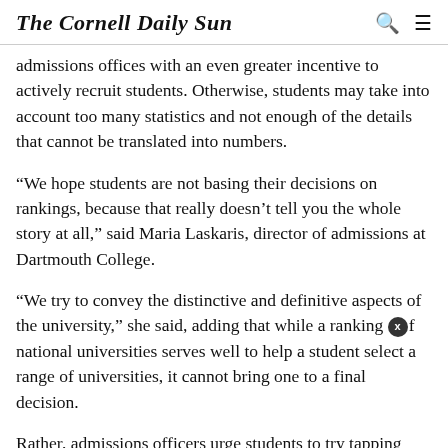The Cornell Daily Sun
admissions offices with an even greater incentive to actively recruit students. Otherwise, students may take into account too many statistics and not enough of the details that cannot be translated into numbers.
“We hope students are not basing their decisions on rankings, because that really doesn’t tell you the whole story at all,” said Maria Laskaris, director of admissions at Dartmouth College.
“We try to convey the distinctive and definitive aspects of the university,” she said, adding that while a ranking of national universities serves well to help a student select a range of universities, it cannot bring one to a final decision.
Rather, admissions officers urge students to try tapping